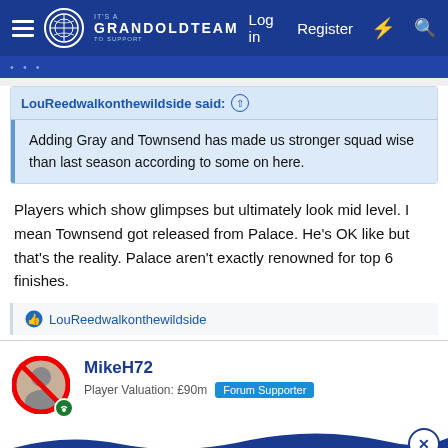GrandOldTeam navigation bar with Log in, Register links
LouReedwalkonthewildside said: Adding Gray and Townsend has made us stronger squad wise than last season according to some on here.
Players which show glimpses but ultimately look mid level. I mean Townsend got released from Palace. He's OK like but that's the reality. Palace aren't exactly renowned for top 6 finishes.
LouReedwalkonthewildside
MikeH72
Player Valuation: £90m  Forum Supporter
[Figure (screenshot): Advertisement banner: Pop in & Shop New Arrivals - World Market]